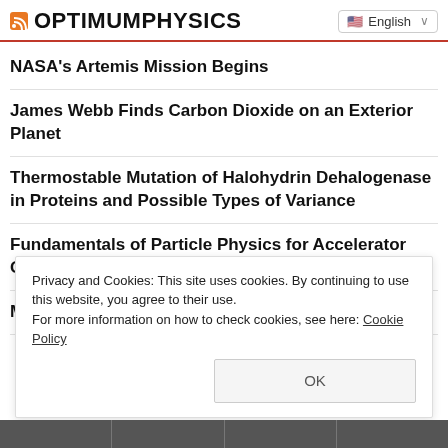OPTIMUMPHYSICS | English
NASA's Artemis Mission Begins
James Webb Finds Carbon Dioxide on an Exterior Planet
Thermostable Mutation of Halohydrin Dehalogenase in Proteins and Possible Types of Variance
Fundamentals of Particle Physics for Accelerator Operators
Manual Transmission Makes History
Privacy and Cookies: This site uses cookies. By continuing to use this website, you agree to their use.
For more information on how to check cookies, see here: Cookie Policy